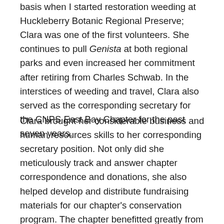basis when I started restoration weeding at Huckleberry Botanic Regional Preserve; Clara was one of the first volunteers. She continues to pull Genista at both regional parks and even increased her commitment after retiring from Charles Schwab. In the interstices of weeding and travel, Clara also served as the corresponding secretary for the CNPS East Bay Chapter for the past seven years.
Clara brought her considerable business and human resources skills to her corresponding secretary position. Not only did she meticulously track and answer chapter correspondence and donations, she also helped develop and distribute fundraising materials for our chapter's conservation program. The chapter benefitted greatly from her human resources expertise when we reviewed and more thoroughly defined the scope of our conservation analyst position. Clara's contributions in this area have allowed our East Bay chapter to proceed with